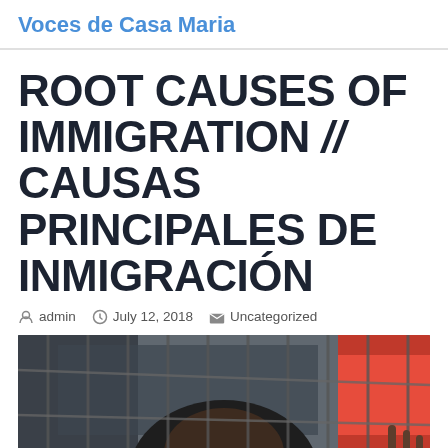Voces de Casa Maria
ROOT CAUSES OF IMMIGRATION // CAUSAS PRINCIPALES DE INMIGRACIÓN
admin  July 12, 2018  Uncategorized
[Figure (photo): A child's face seen through a chain-link fence, with a red vehicle or barrier visible in the background. The image suggests themes of immigration detention or border crossing.]